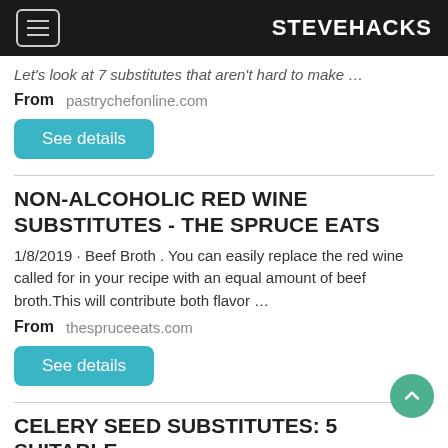STEVEHACKS
Let's look at 7 substitutes that aren't hard to make …
From   pastrychefonline.com
See details
NON-ALCOHOLIC RED WINE SUBSTITUTES - THE SPRUCE EATS
1/8/2019 · Beef Broth . You can easily replace the red wine called for in your recipe with an equal amount of beef broth.This will contribute both flavor …
From   thespruceeats.com
See details
CELERY SEED SUBSTITUTES: 5 SUITABLE